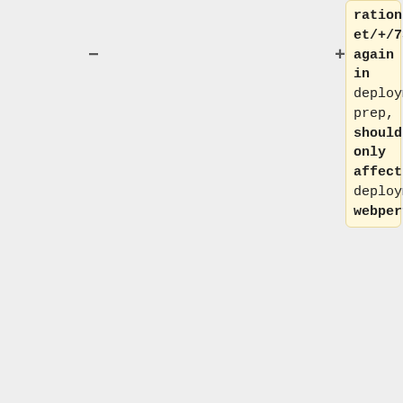rations/puppet/+/737970 again in deployment-prep, should only affect deployment-webperf11.
* 09:13 hashar: Updating CI jobs for Jenkins Jobs Builder upgrade to 3.11.0
* 22:01 hashar: reloaded zuul for https://gerrit.wikimedia.org/r/791688
* 01:50 Reedy:
* 18:58 inflatador: